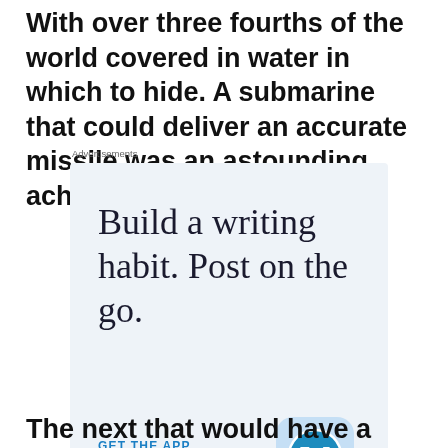With over three fourths of the world covered in water in which to hide. A submarine that could deliver an accurate missile was an astounding achievement.
[Figure (screenshot): Advertisement banner for WordPress mobile app. Light blue background with large serif text reading 'Build a writing habit. Post on the go.' and a 'GET THE APP' link in blue, with a WordPress app icon (blue W in rounded square) in the bottom right.]
The next that world has a long that the...